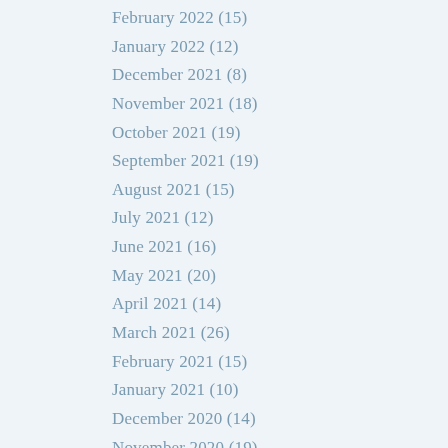February 2022 (15)
January 2022 (12)
December 2021 (8)
November 2021 (18)
October 2021 (19)
September 2021 (19)
August 2021 (15)
July 2021 (12)
June 2021 (16)
May 2021 (20)
April 2021 (14)
March 2021 (26)
February 2021 (15)
January 2021 (10)
December 2020 (14)
November 2020 (19)
October 2020 (11)
September 2020 (21)